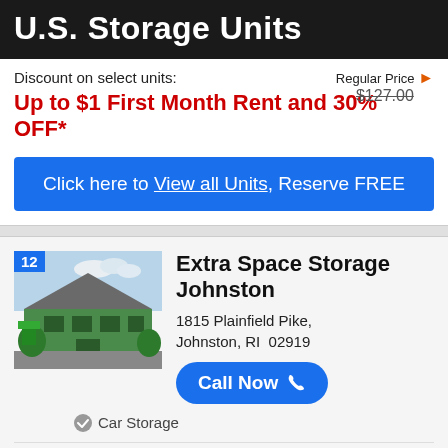U.S. Storage Units
Discount on select units:
Up to $1 First Month Rent and 30% OFF*
Regular Price $127.00
Click here to View all Units, Reserve FREE
[Figure (photo): Exterior photo of Extra Space Storage Johnston facility, a large green building with parking lot and landscaping, numbered marker 12]
Extra Space Storage Johnston
1815 Plainfield Pike, Johnston, RI  02919
Call Now
Car Storage
26.4 miles away
Storage units as low as:
Web Price